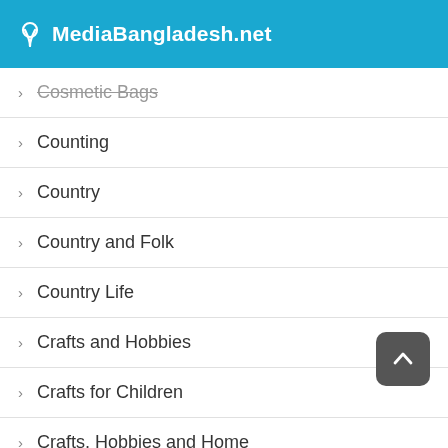MediaBangladesh.net
Cosmetic Bags
Counting
Country
Country and Folk
Country Life
Crafts and Hobbies
Crafts for Children
Crafts, Hobbies and Home
Creativity
Creativity and Genius